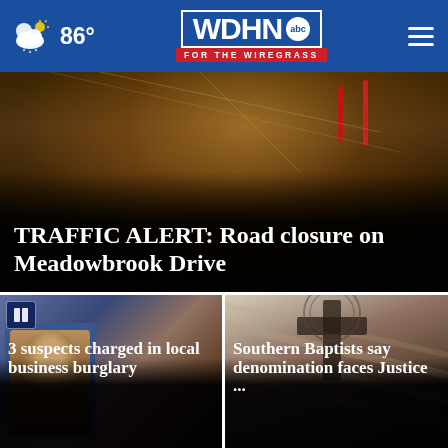WDHN ABC FOR THE WIREGRASS — 86°
[Figure (photo): Feature story hero image showing wires and red hooks/equipment with dark background]
TRAFFIC ALERT: Road closure on Meadowbrook Drive
[Figure (photo): Mugshot style photo of suspect with blue background]
3 suspects charged in local business burglary
[Figure (photo): Cross monument with barbed wire against building background]
Southern Baptists say denomination faces Justice ...